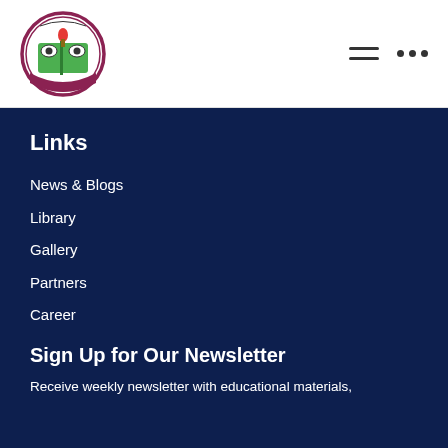[Figure (logo): Circular school logo with Bengali text, showing a book and torch icon, green and maroon colors]
Links
News & Blogs
Library
Gallery
Partners
Career
Sign Up for Our Newsletter
Receive weekly newsletter with educational materials,